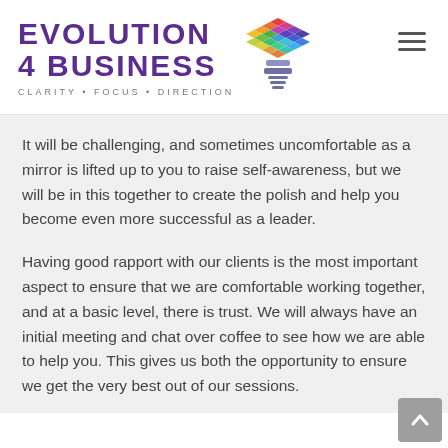[Figure (logo): Evolution 4 Business logo with colorful diamond-pattern lightbulb icon and tagline CLARITY • FOCUS • DIRECTION]
It will be challenging, and sometimes uncomfortable as a mirror is lifted up to you to raise self-awareness, but we will be in this together to create the polish and help you become even more successful as a leader.
Having good rapport with our clients is the most important aspect to ensure that we are comfortable working together, and at a basic level, there is trust. We will always have an initial meeting and chat over coffee to see how we are able to help you. This gives us both the opportunity to ensure we get the very best out of our sessions.